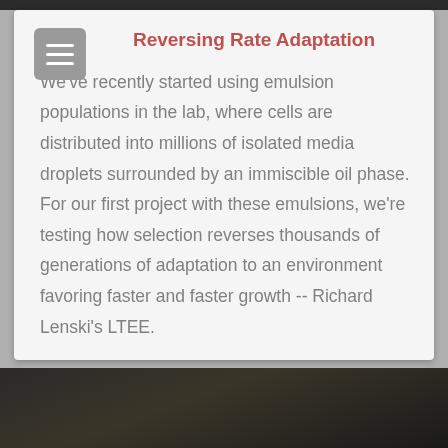Reversing Rate Adaptation
We've recently started using emulsion populations in the lab, where cells are distributed into millions of isolated media droplets surrounded by an immiscible oil phase. For our first project with these emulsions, we're testing how selection reverses thousands of generations of adaptation to an environment favoring faster and faster growth -- Richard Lenski's LTEE.
[Figure (photo): Dark photograph, partially visible at the bottom of the page]